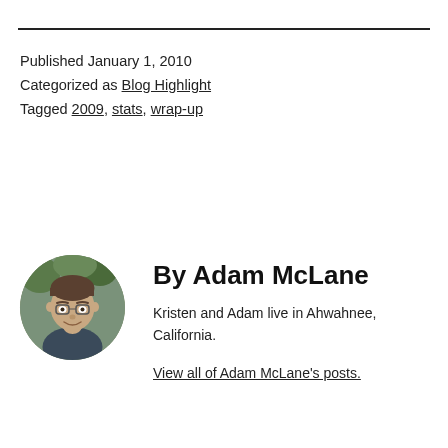Published January 1, 2010
Categorized as Blog Highlight
Tagged 2009, stats, wrap-up
By Adam McLane
Kristen and Adam live in Ahwahnee, California.
View all of Adam McLane's posts.